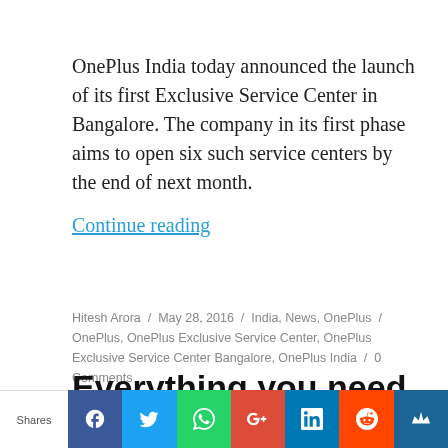OnePlus India today announced the launch of its first Exclusive Service Center in Bangalore. The company in its first phase aims to open six such service centers by the end of next month.
Continue reading
Hitesh Arora / May 28, 2016 / India, News, OnePlus / OnePlus, OnePlus Exclusive Service Center, OnePlus Exclusive Service Center Bangalore, OnePlus India / 0 Comments
Everything you need to know about OnePlus 3,